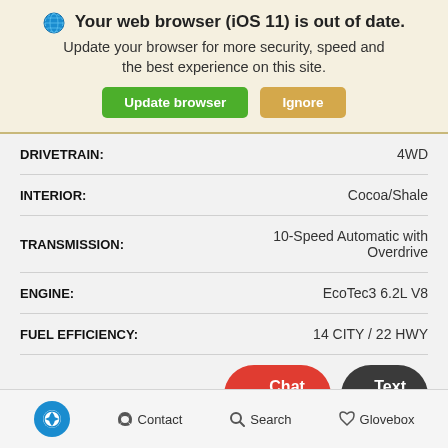🌐 Your web browser (iOS 11) is out of date. Update your browser for more security, speed and the best experience on this site. [Update browser] [Ignore]
| Spec | Value |
| --- | --- |
| DRIVETRAIN: | 4WD |
| INTERIOR: | Cocoa/Shale |
| TRANSMISSION: | 10-Speed Automatic with Overdrive |
| ENGINE: | EcoTec3 6.2L V8 |
| FUEL EFFICIENCY: | 14 CITY / 22 HWY |
| MILEAGE: |  |
Accessibility  Contact  Search  Glovebox